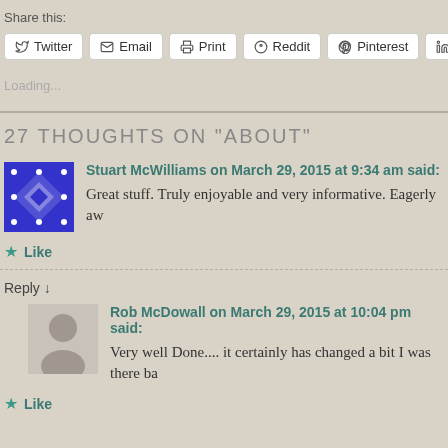Share this:
Twitter | Email | Print | Reddit | Pinterest | LinkedIn
Loading...
27 THOUGHTS ON "ABOUT"
Stuart McWilliams on March 29, 2015 at 9:34 am said:
Great stuff. Truly enjoyable and very informative. Eagerly aw
Like
Reply ↓
Rob McDowall on March 29, 2015 at 10:04 pm said:
Very well Done.... it certainly has changed a bit I was there ba
Like